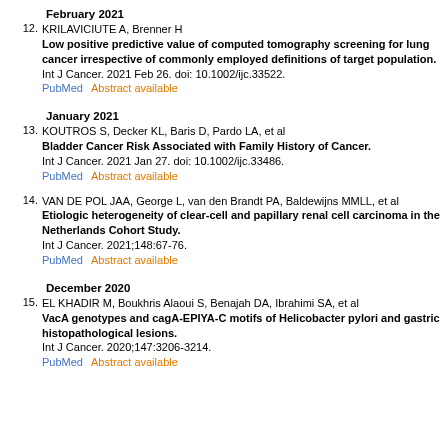February 2021
12. KRILAVICIUTE A, Brenner H
Low positive predictive value of computed tomography screening for lung cancer irrespective of commonly employed definitions of target population.
Int J Cancer. 2021 Feb 26. doi: 10.1002/ijc.33522.
PubMed    Abstract available
January 2021
13. KOUTROS S, Decker KL, Baris D, Pardo LA, et al
Bladder Cancer Risk Associated with Family History of Cancer.
Int J Cancer. 2021 Jan 27. doi: 10.1002/ijc.33486.
PubMed    Abstract available
14. VAN DE POL JAA, George L, van den Brandt PA, Baldewijns MMLL, et al
Etiologic heterogeneity of clear-cell and papillary renal cell carcinoma in the Netherlands Cohort Study.
Int J Cancer. 2021;148:67-76.
PubMed    Abstract available
December 2020
15. EL KHADIR M, Boukhris Alaoui S, Benajah DA, Ibrahimi SA, et al
VacA genotypes and cagA-EPIYA-C motifs of Helicobacter pylori and gastric histopathological lesions.
Int J Cancer. 2020;147:3206-3214.
PubMed    Abstract available